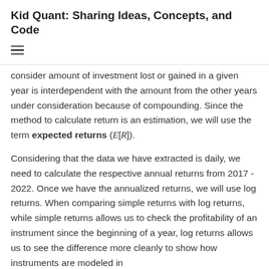Kid Quant: Sharing Ideas, Concepts, and Code
consider amount of investment lost or gained in a given year is interdependent with the amount from the other years under consideration because of compounding. Since the method to calculate return is an estimation, we will use the term expected returns (E[R]).
Considering that the data we have extracted is daily, we need to calculate the respective annual returns from 2017 - 2022. Once we have the annualized returns, we will use log returns. When comparing simple returns with log returns, while simple returns allows us to check the profitability of an instrument since the beginning of a year, log returns allows us to see the difference more cleanly to show how instruments are modeled in